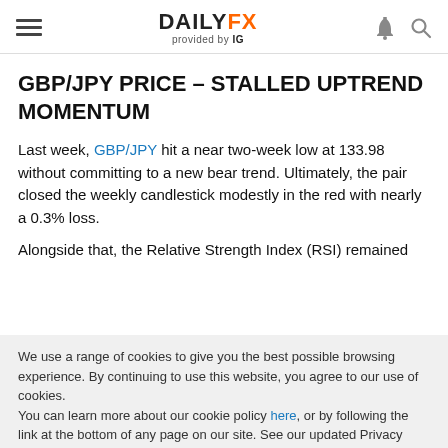DAILYFX provided by IG
GBP/JPY PRICE – STALLED UPTREND MOMENTUM
Last week, GBP/JPY hit a near two-week low at 133.98 without committing to a new bear trend. Ultimately, the pair closed the weekly candlestick modestly in the red with nearly a 0.3% loss.
Alongside that, the Relative Strength Index (RSI) remained
We use a range of cookies to give you the best possible browsing experience. By continuing to use this website, you agree to our use of cookies.
You can learn more about our cookie policy here, or by following the link at the bottom of any page on our site. See our updated Privacy Policy here.
Accept